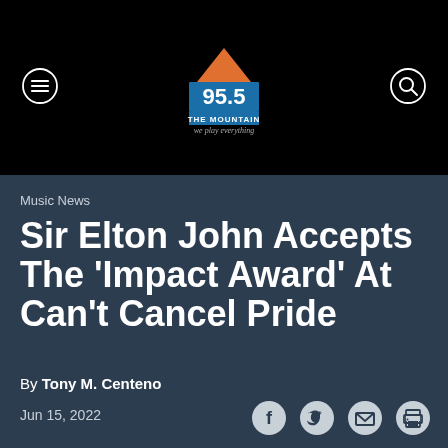[Figure (logo): 95.5 The Mountain radio station logo with orange mountain graphic and tagline 'we play everything']
Music News
Sir Elton John Accepts The 'Impact Award' At Can't Cancel Pride
By Tony M. Centeno
Jun 15, 2022